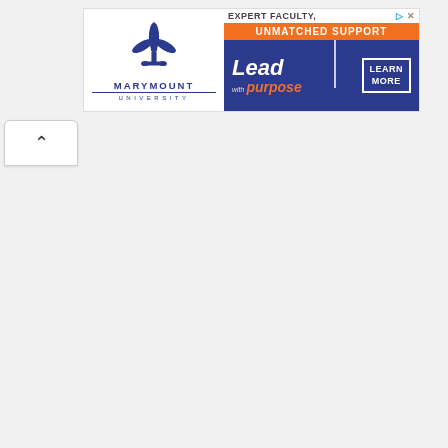[Figure (infographic): Marymount University advertisement banner. Left side: blue fleur-de-lis logo above 'MARYMOUNT UNIVERSITY' text in dark blue. Right side: top white bar with 'EXPERT FACULTY,' text and ad icons; orange bar with 'UNMATCHED SUPPORT'; dark blue bottom section with 'Lead with purpose' text in white/orange italic and 'LEARN MORE' button.]